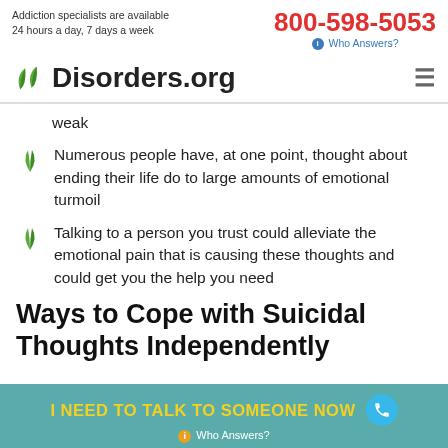Addiction specialists are available 24 hours a day, 7 days a week | 800-598-5053 | Who Answers?
[Figure (logo): Disorders.org logo with two green leaves and bold text]
weak
Numerous people have, at one point, thought about ending their life do to large amounts of emotional turmoil
Talking to a person you trust could alleviate the emotional pain that is causing these thoughts and could get you the help you need
Ways to Cope with Suicidal Thoughts Independently
I NEED TO TALK TO SOMEONE NOW | Who Answers?